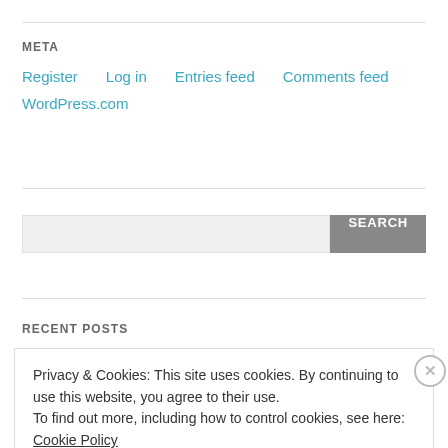META
Register
Log in
Entries feed
Comments feed
WordPress.com
[Figure (screenshot): Search input box with SEARCH button]
RECENT POSTS
Privacy & Cookies: This site uses cookies. By continuing to use this website, you agree to their use.
To find out more, including how to control cookies, see here: Cookie Policy
Close and accept